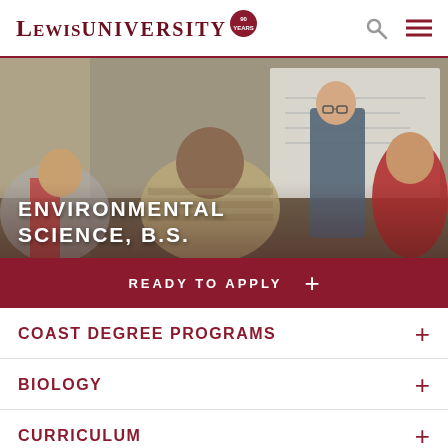Lewis University [90 Years logo]
[Figure (photo): Classroom scene with a male instructor gesturing while speaking to seated students around a table. A whiteboard is visible in the background.]
ENVIRONMENTAL SCIENCE, B.S.
READY TO APPLY +
COAST DEGREE PROGRAMS +
BIOLOGY +
CURRICULUM +